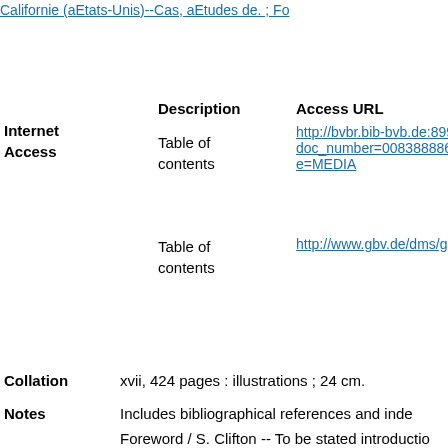Californie (aEtats-Unis)--Cas, aEtudes de. ; Fo...
| Description | Access URL |
| --- | --- |
| Table of contents | http://bvbr.bib-bvb.de:8991...doc_number=008388886&li...e=MEDIA |
| Table of contents | http://www.gbv.de/dms/goe... |
| Library | Call Number | Additional Info | Loca... |
| --- | --- | --- | --- |
| EKBM | SB745.O95 1999 |  | Rese... |
Collation    xvii, 424 pages : illustrations ; 24 cm.
Notes    Includes bibliographical references and inde...
Foreword / S. Clifton -- To be stated...